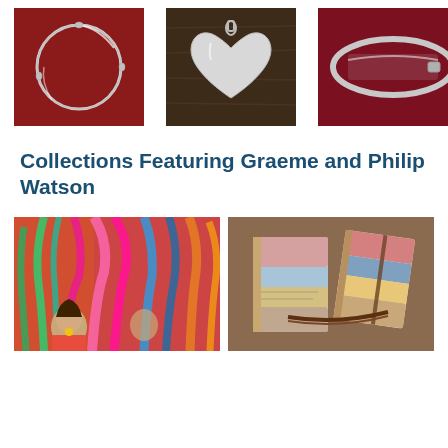[Figure (photo): Silver bangle bracelet on red background]
[Figure (photo): Silver heart-shaped pendant on dark wood background]
[Figure (photo): Silver ID bracelet on dark red background]
Collections Featuring Graeme and Philip Watson
[Figure (photo): Colorful festival figures with feathered costumes in pink, green, blue, orange]
[Figure (photo): Small decorative journal books with collage covers and leather binding]